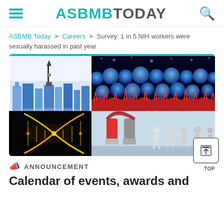ASBMB TODAY
ASBMB Today > Careers > Survey: 1 in 5 NIH workers were sexually harassed in past year
[Figure (illustration): Four-panel image grid: top-left shows Seattle skyline illustration with Space Needle in blue tones; top-right shows microscopic blue and red cells/bacteria on dark background; bottom-left shows golden DNA double helix on black background; bottom-right shows red horseshoe magnet attracting small white human figures on light blue background.]
ANNOUNCEMENT
Calendar of events, awards and